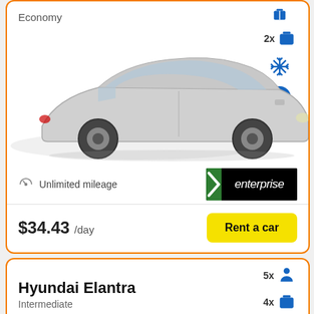Economy
[Figure (photo): White/silver compact hatchback car (economy class) shown from front-left angle]
2x luggage, AC, Automatic transmission
[Figure (logo): Enterprise car rental logo - black background with green panel and white text]
Unlimited mileage
$34.43 /day
Rent a car
Hyundai Elantra
Intermediate
5x passengers, 4x luggage
[Figure (photo): Dark grey/silver sedan (Hyundai Elantra) shown from front-left angle, partially visible]